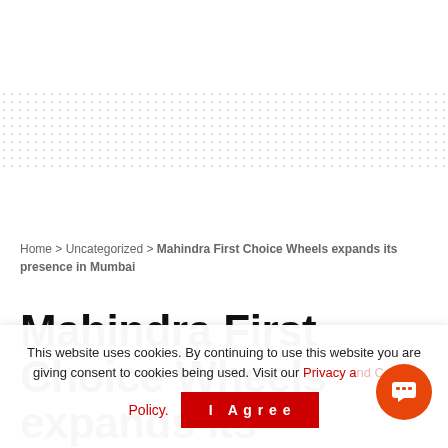[Figure (other): Dotted pattern background strip across the upper portion of the page]
Home > Uncategorized > Mahindra First Choice Wheels expands its presence in Mumbai
Mahindra First Choice Wheels expands its presence in Mumbai
This website uses cookies. By continuing to use this website you are giving consent to cookies being used. Visit our Privacy and Cookie Policy.
I Agree